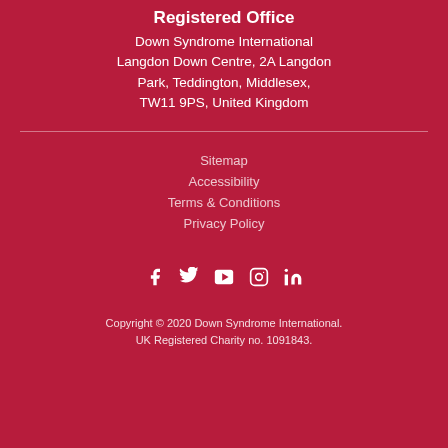Registered Office
Down Syndrome International
Langdon Down Centre, 2A Langdon Park, Teddington, Middlesex, TW11 9PS, United Kingdom
Sitemap
Accessibility
Terms & Conditions
Privacy Policy
[Figure (illustration): Social media icons: Facebook, Twitter, YouTube, Instagram, LinkedIn]
Copyright © 2020 Down Syndrome International. UK Registered Charity no. 1091843.